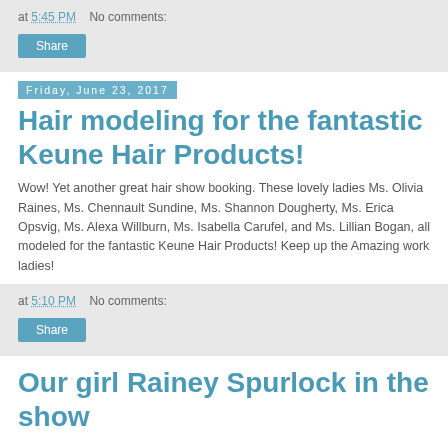at 5:45 PM   No comments:
Share
Friday, June 23, 2017
Hair modeling for the fantastic Keune Hair Products!
Wow! Yet another great hair show booking. These lovely ladies Ms. Olivia Raines, Ms. Chennault Sundine, Ms. Shannon Dougherty, Ms. Erica Opsvig, Ms. Alexa Willburn, Ms. Isabella Carufel, and Ms. Lillian Bogan, all modeled for the fantastic Keune Hair Products! Keep up the Amazing work ladies!
at 5:10 PM   No comments:
Share
Our girl Rainey Spurlock in the show